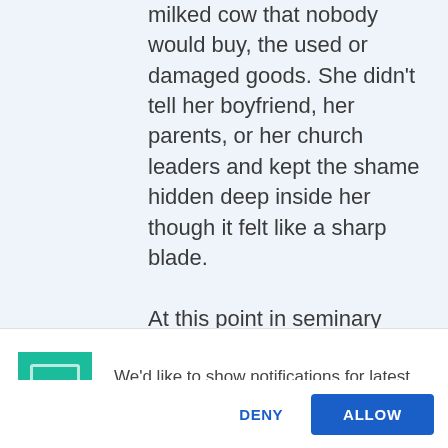milked cow that nobody would buy, the used or damaged goods. She didn't tell her boyfriend, her parents, or her church leaders and kept the shame hidden deep inside her though it felt like a sharp blade.

At this point in seminary teachers were teaching from scripture from books but also from the talks and teachings of prophets. She'll never forget the day she heard the words said by the prophet of her childhood, some people in the
We'd like to show notifications for latest podcast and blog posts
DENY
ALLOW